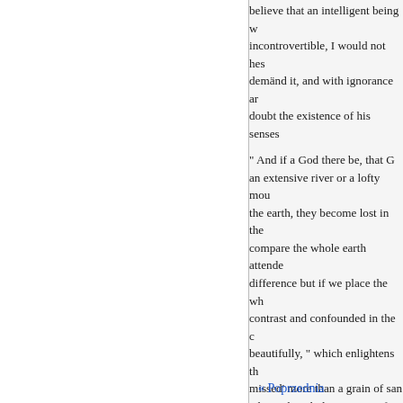believe that an intelligent being w incontrovertible, I would not hes demand it, and with ignorance ar doubt the existence of his senses

" And if a God there be, that G an extensive river or a lofty mou the earth, they become lost in the compare the whole earth attende difference but if we place the wh contrast and confounded in the c beautifully, " which enlightens th missed' more than a grain of san take in the whole compass of nat universe has bounds prescribed t infinite goodness, with an infinit the universe is so stupendous, so incomprehensible is its great Cre where shall we find space suffici weigheth the mountains in scales

In reading in the records of pa overflowing with all the
« Poprzednia